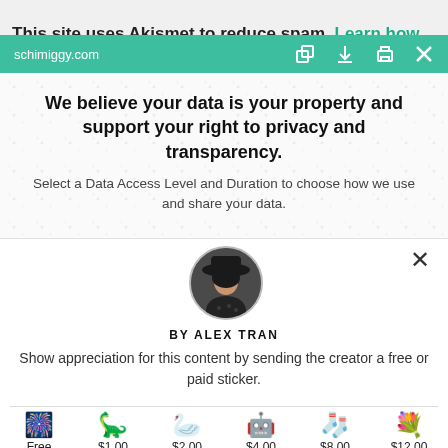This site uses Akismet to reduce spam. Learn how
schimiggy.com
We believe your data is your property and support your right to privacy and transparency.
Select a Data Access Level and Duration to choose how we use and share your data.
[Figure (photo): Circular avatar photo of Alex Tran, a person wearing a wide-brimmed hat and dark polka dot clothing]
BY ALEX TRAN
Show appreciation for this content by sending the creator a free or paid sticker.
[Figure (infographic): Row of six sticker icons with prices: Free (star/firework sticker), $1.00 (dinosaur), $2.00 (origami crane), $4.00 (robot), $8.00 (sock/knitting), $12.00 (flower bouquet)]